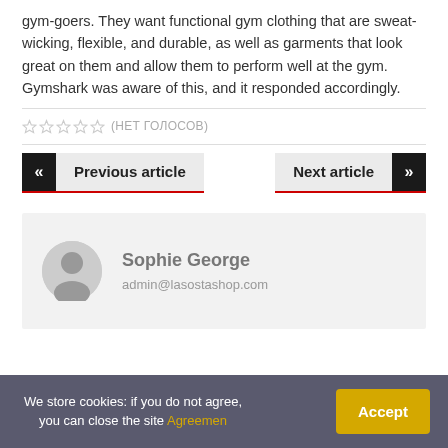gym-goers. They want functional gym clothing that are sweat-wicking, flexible, and durable, as well as garments that look great on them and allow them to perform well at the gym. Gymshark was aware of this, and it responded accordingly.
☆☆☆☆☆ (нет голосов)
Previous article
Next article
Sophie George
admin@lasostashop.com
We store cookies: if you do not agree, you can close the site Agreemen